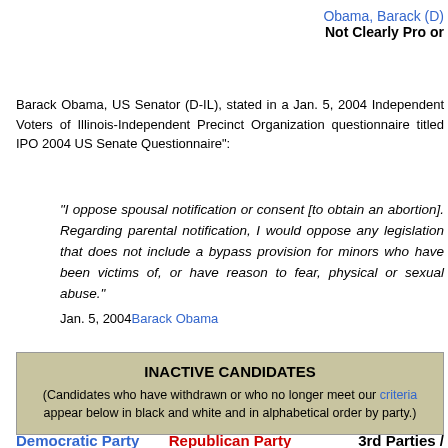Obama, Barack (D)
Not Clearly Pro or
Barack Obama, US Senator (D-IL), stated in a Jan. 5, 2004 Independent Voters of Illinois-Independent Precinct Organization questionnaire titled IPO 2004 US Senate Questionnaire":
"I oppose spousal notification or consent [to obtain an abortion]. Regarding parental notification, I would oppose any legislation that does not include a bypass provision for minors who have been victims of, or have reason to fear, physical or sexual abuse."
Jan. 5, 2004 Barack Obama
INACTIVE CANDIDATES
(Candidates who have withdrawn or who no longer meet our criteria appear below in black and white and in alphabetical order by party.)
Democratic Party  Republican Party  3rd Parties /